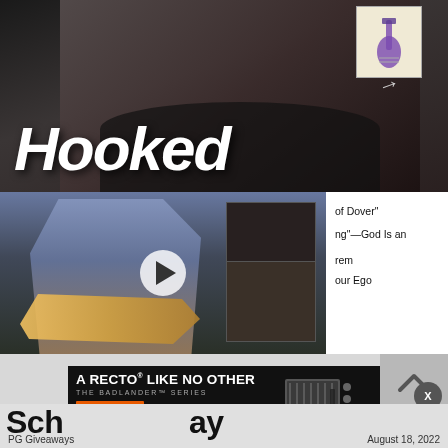[Figure (photo): Video thumbnail with man smiling and text 'Hooked' overlaid in large white italic bold font, with small guitar image in top right and arrow]
[Figure (photo): Video player showing guitarist playing Stratocaster-style guitar in front of amplifier, with play button overlay]
of Dover"
ng"—God Is an
rem
our Ego
[Figure (screenshot): Mesa/Boogie advertisement banner with text 'A RECTO LIKE NO OTHER THE BADLANDER SERIES LEARN MORE MESA/BOOGIE' with amp image on right]
Sch  ay
PG Giveaways
August 18, 2022